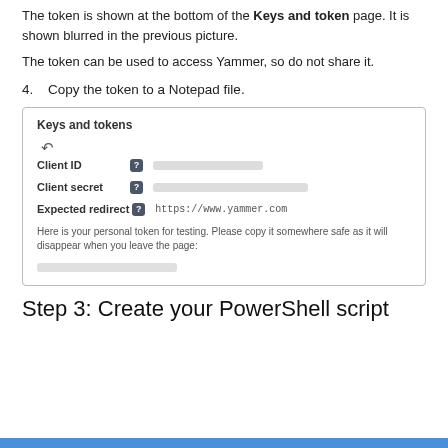The token is shown at the bottom of the Keys and token page. It is shown blurred in the previous picture.
The token can be used to access Yammer, so do not share it.
4. Copy the token to a Notepad file.
[Figure (screenshot): Screenshot of the 'Keys and tokens' page showing Client ID, Client secret, Expected redirect fields (values blurred), and a personal token message with blurred token value.]
Step 3: Create your PowerShell script